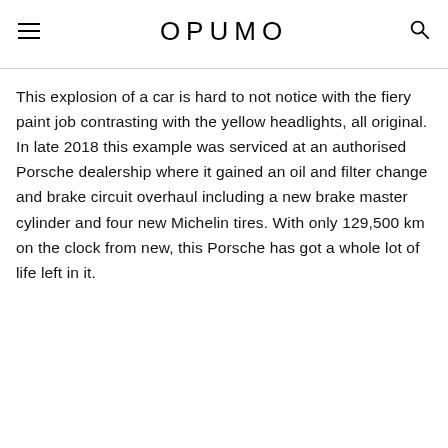OPUMO
This explosion of a car is hard to not notice with the fiery paint job contrasting with the yellow headlights, all original. In late 2018 this example was serviced at an authorised Porsche dealership where it gained an oil and filter change and brake circuit overhaul including a new brake master cylinder and four new Michelin tires. With only 129,500 km on the clock from new, this Porsche has got a whole lot of life left in it.